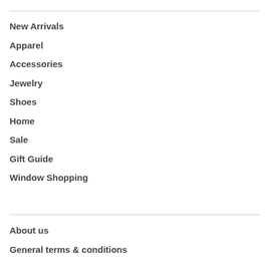New Arrivals
Apparel
Accessories
Jewelry
Shoes
Home
Sale
Gift Guide
Window Shopping
About us
General terms & conditions